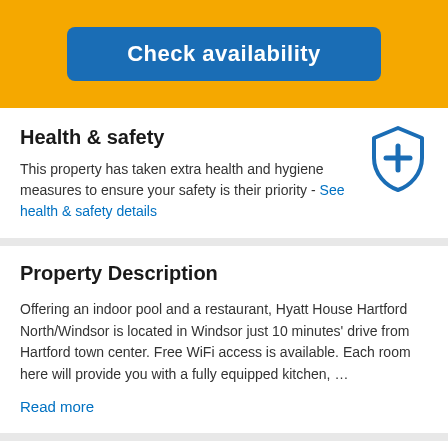Check availability
Health & safety
This property has taken extra health and hygiene measures to ensure your safety is their priority - See health & safety details
Property Description
Offering an indoor pool and a restaurant, Hyatt House Hartford North/Windsor is located in Windsor just 10 minutes' drive from Hartford town center. Free WiFi access is available. Each room here will provide you with a fully equipped kitchen, …
Read more